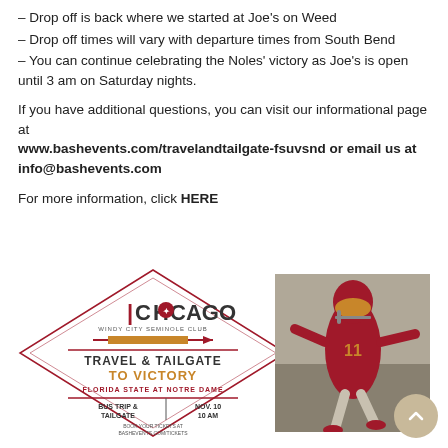– Drop off is back where we started at Joe's on Weed
– Drop off times will vary with departure times from South Bend
– You can continue celebrating the Noles' victory as Joe's is open until 3 am on Saturday nights.
If you have additional questions, you can visit our informational page at www.bashevents.com/travelandtailgate-fsuvsnd or email us at info@bashevents.com
For more information, click HERE
[Figure (infographic): Chicago Windy City Seminole Club Travel & Tailgate to Victory - Florida State at Notre Dame event banner with diamond shape logo, Bus Trip & Tailgate, Nov. 10 10 AM, Book your tickets at bashevents.com/tickets, alongside a photo of a Florida State football player wearing #11 in red and gold uniform running.]